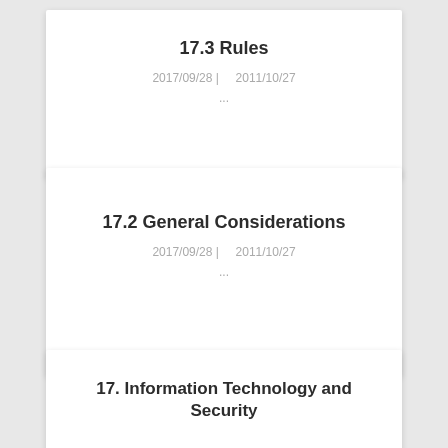17.3 Rules
2017/09/28 |   2011/10/27
...
17.2 General Considerations
2017/09/28 |   2011/10/27
...
17. Information Technology and Security